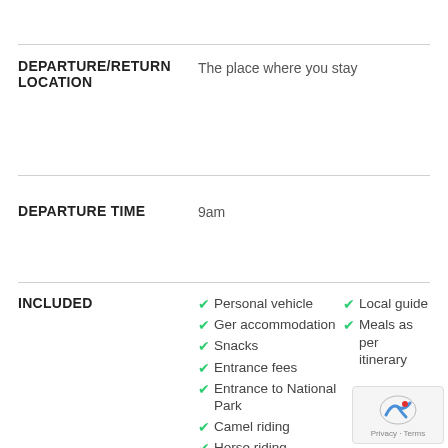DEPARTURE/RETURN LOCATION — The place where you stay
DEPARTURE TIME — 9am
INCLUDED — Personal vehicle, Local guide, Ger accommodation, Meals as per itinerary, Snacks, Entrance fees, Entrance to National Park, Camel riding, Horse riding